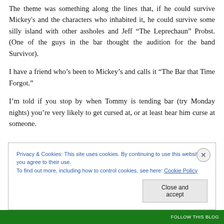The theme was something along the lines that, if he could survive Mickey's and the characters who inhabited it, he could survive some silly island with other assholes and Jeff “The Leprechaun” Probst. (One of the guys in the bar thought the audition for the band Survivor).
I have a friend who’s been to Mickey’s and calls it “The Bar that Time Forgot.”
I’m told if you stop by when Tommy is tending bar (try Monday nights) you’re very likely to get cursed at, or at least hear him curse at someone.
Privacy & Cookies: This site uses cookies. By continuing to use this website, you agree to their use.
To find out more, including how to control cookies, see here: Cookie Policy